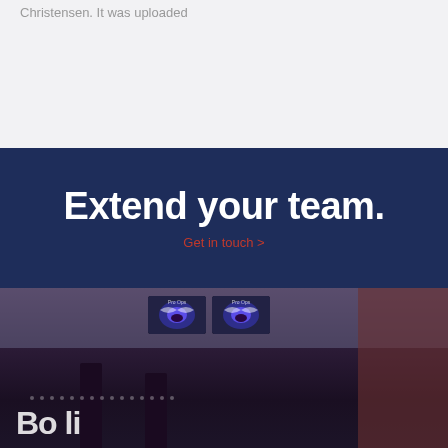Christensen. It was uploaded
Extend your team.
Get in touch >
[Figure (photo): Interior of a bowling alley or entertainment venue with two monitors mounted on the ceiling displaying blue/purple graphics, cylindrical columns, and decorative wall panels. Large white bold text partially visible at the bottom of the image.]